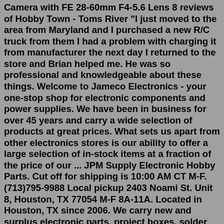Camera with FE 28-60mm F4-5.6 Lens 8 reviews of Hobby Town - Toms River "I just moved to the area from Maryland and I purchased a new R/C truck from them I had a problem with charging it from manufacturer the next day I returned to the store and Brian helped me. He was so professional and knowledgeable about these things. Welcome to Jameco Electronics - your one-stop shop for electronic components and power supplies. We have been in business for over 45 years and carry a wide selection of products at great prices. What sets us apart from other electronics stores is our ability to offer a large selection of in-stock items at a fraction of the price of our ... JPM Supply Electronic Hobby Parts. Cut off for shipping is 10:00 AM CT M-F. (713)795-9988 Local pickup 2403 Noami St. Unit 8, Houston, TX 77054 M-F 8A-11A. Located in Houston, TX since 2006. We carry new and surplus electronic parts, project boxes, solder kits, prototyping and soldering, toroids, coax, connectors, potentiometers, germanium ... Find the best Audio Repair near you on Yelp - see